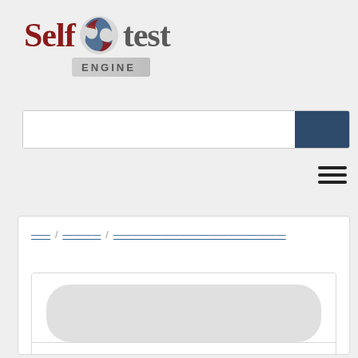[Figure (logo): Self Test Engine logo with red 'Self', spinning globe icon in blue/red/grey, grey 'test' text, and 'ENGINE' text on a grey pill/bar below]
[Figure (screenshot): Search input box with white background and dark blue search button on the right]
[Figure (screenshot): Hamburger menu icon (three horizontal lines)]
[Figure (screenshot): Main content card with breadcrumb navigation links and an inner card containing a rounded grey header bar and white body area]